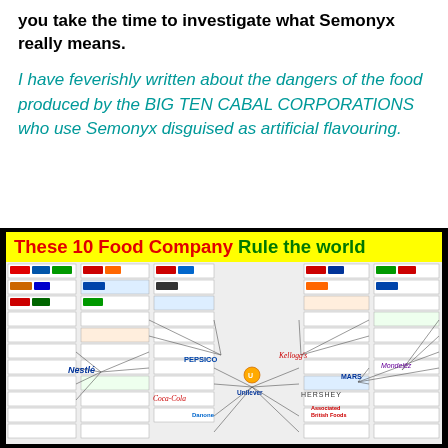you take the time to investigate what Semonyx really means.
I have feverishly written about the dangers of the food produced by the BIG TEN CABAL CORPORATIONS who use Semonyx disguised as artificial flavouring.
[Figure (infographic): Infographic titled 'These 10 Food Company Rule the world' showing a network diagram of 10 major food corporations (Nestlé, PepsiCo, Unilever, Kellogg's, Associated British Foods, Mondelēz, Mars, Danone, Coca-Cola, General Mills) and their subsidiary brands.]